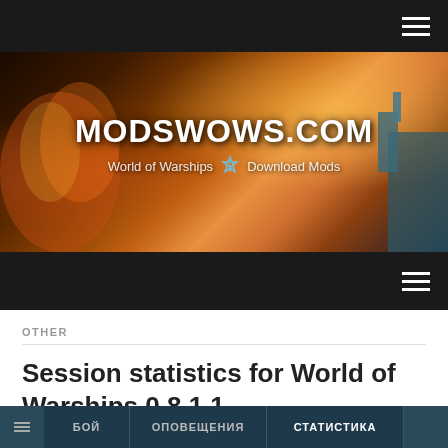modswows.com — World of Warships Download Mods
[Figure (screenshot): Website banner showing modswows.com with World of Warships battle scene background. Text reads MODSWOWS.COM and World of Warships Download Mods with anchor icon.]
OTHER
Session statistics for World of Warships 0.8.1.1
World of Warships Mods
18 MAR, 2019 16:58
[Figure (screenshot): Bottom preview strip showing navigation tabs: БОЙ, ОПОВЕЩЕНИЯ, СТАТИСТИКА on a dark teal background.]